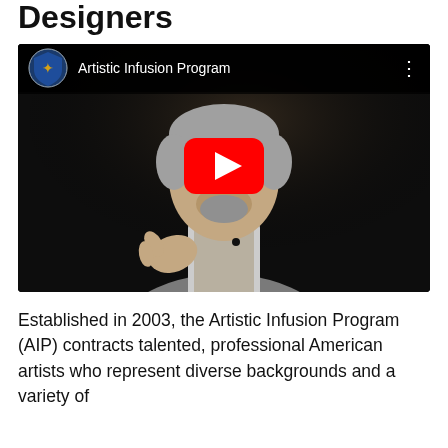Designers
[Figure (screenshot): YouTube-style video thumbnail showing a man with grey hair and glasses wearing a light grey blazer speaking at a podium against a dark background. The video channel is 'Artistic Infusion Program' with a US Treasury shield logo. A red YouTube play button is centered over the image.]
Established in 2003, the Artistic Infusion Program (AIP) contracts talented, professional American artists who represent diverse backgrounds and a variety of techniques. These artists work with Mint on Team...